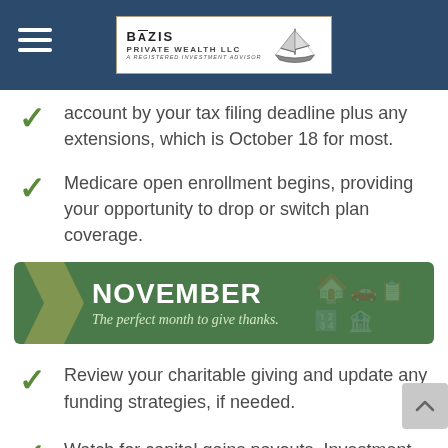Bazis Private Wealth LLC — A Registered Investment Advisor
account by your tax filing deadline plus any extensions, which is October 18 for most.
Medicare open enrollment begins, providing your opportunity to drop or switch plan coverage.
[Figure (infographic): Green banner with arrow chevron on left, large bold white text 'NOVEMBER', italic subtitle 'The perfect month to give thanks.' with decorative background icons]
Review your charitable giving and update any funding strategies, if needed.
Watch for capital gains payouts. Investment